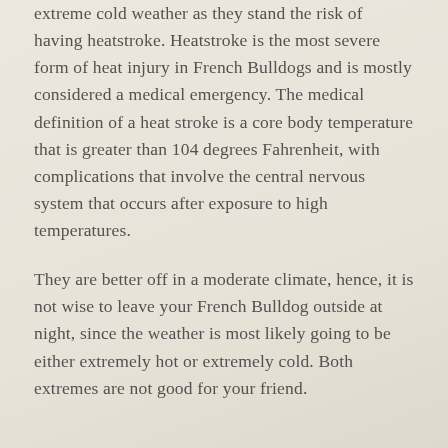extreme cold weather as they stand the risk of having heatstroke. Heatstroke is the most severe form of heat injury in French Bulldogs and is mostly considered a medical emergency. The medical definition of a heat stroke is a core body temperature that is greater than 104 degrees Fahrenheit, with complications that involve the central nervous system that occurs after exposure to high temperatures.
They are better off in a moderate climate, hence, it is not wise to leave your French Bulldog outside at night, since the weather is most likely going to be either extremely hot or extremely cold. Both extremes are not good for your friend.